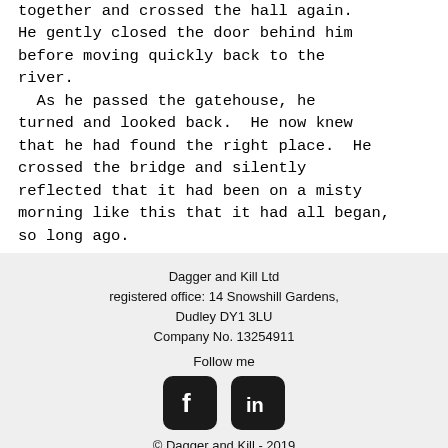together and crossed the hall again. He gently closed the door behind him before moving quickly back to the river.
  As he passed the gatehouse, he turned and looked back.  He now knew that he had found the right place.  He crossed the bridge and silently reflected that it had been on a misty morning like this that it had all began, so long ago.
Dagger and Kill Ltd
registered office: 14 Snowshill Gardens, Dudley DY1 3LU
Company No. 13254911

Follow me

© Dagger and Kill - 2019